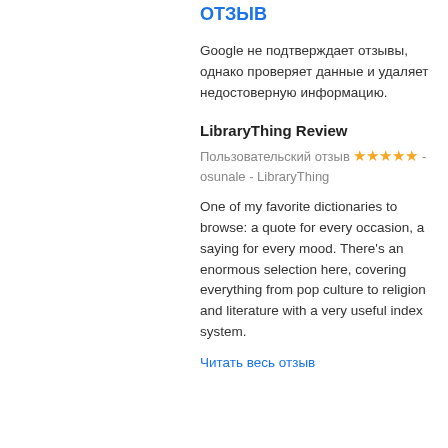ОТЗЫВ
Google не подтверждает отзывы, однако проверяет данные и удаляет недостоверную информацию.
LibraryThing Review
Пользовательский отзыв ★★★★★ - osunale - LibraryThing
One of my favorite dictionaries to browse: a quote for every occasion, a saying for every mood. There's an enormous selection here, covering everything from pop culture to religion and literature with a very useful index system.
Читать весь отзыв